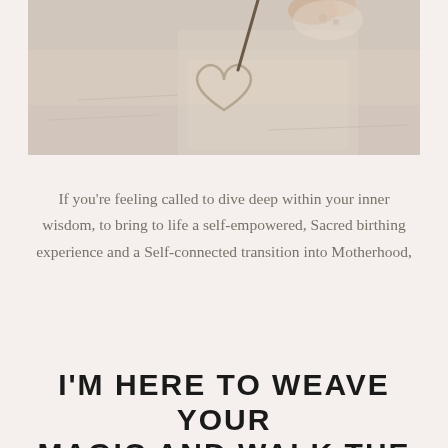[Figure (photo): Aerial/overhead photo of a person drawing a heart shape in sand on a beach, warm sandy tones]
If you're feeling called to dive deep within your inner wisdom, to bring to life a self-empowered, Sacred birthing experience and a Self-connected transition into Motherhood,
I'M HERE TO WEAVE YOUR MAGIC AND WALK THE PATH